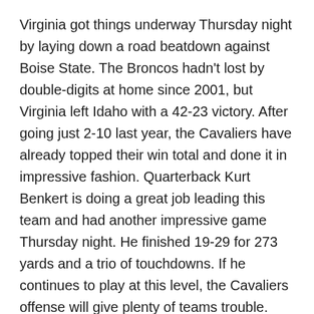Virginia got things underway Thursday night by laying down a road beatdown against Boise State. The Broncos hadn't lost by double-digits at home since 2001, but Virginia left Idaho with a 42-23 victory. After going just 2-10 last year, the Cavaliers have already topped their win total and done it in impressive fashion. Quarterback Kurt Benkert is doing a great job leading this team and had another impressive game Thursday night. He finished 19-29 for 273 yards and a trio of touchdowns. If he continues to play at this level, the Cavaliers offense will give plenty of teams trouble. They will have a week off before starting ACC play against undefeated Duke on October 7.
Pittsburgh (1-3)
The Pittsburgh Panthers faced your very own Yellow